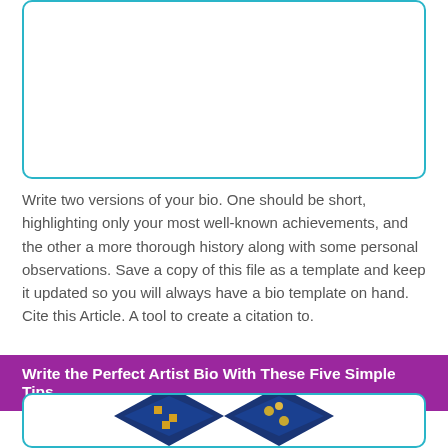[Figure (other): White box with teal/cyan border, rounded corners, upper portion of page]
Write two versions of your bio. One should be short, highlighting only your most well-known achievements, and the other a more thorough history along with some personal observations. Save a copy of this file as a template and keep it updated so you will always have a bio template on hand. Cite this Article. A tool to create a citation to.
Write the Perfect Artist Bio With These Five Simple Tips.
[Figure (photo): White box with teal/cyan border, rounded corners, bottom of page, showing diamond-shaped images partially visible]